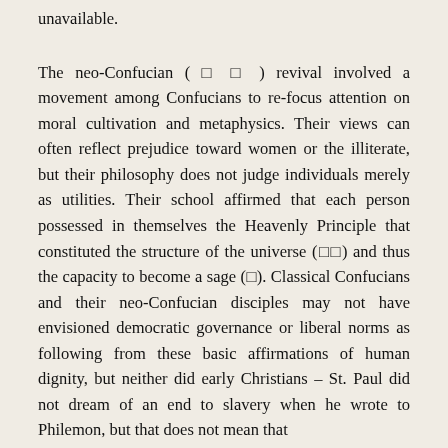unavailable.
The neo-Confucian ( □ □ ) revival involved a movement among Confucians to re-focus attention on moral cultivation and metaphysics. Their views can often reflect prejudice toward women or the illiterate, but their philosophy does not judge individuals merely as utilities. Their school affirmed that each person possessed in themselves the Heavenly Principle that constituted the structure of the universe (□□) and thus the capacity to become a sage (□). Classical Confucians and their neo-Confucian disciples may not have envisioned democratic governance or liberal norms as following from these basic affirmations of human dignity, but neither did early Christians – St. Paul did not dream of an end to slavery when he wrote to Philemon, but that does not mean that